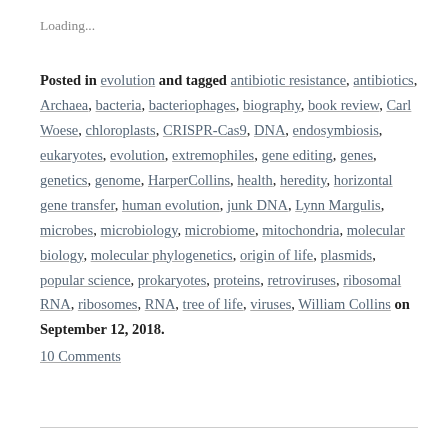Loading...
Posted in evolution and tagged antibiotic resistance, antibiotics, Archaea, bacteria, bacteriophages, biography, book review, Carl Woese, chloroplasts, CRISPR-Cas9, DNA, endosymbiosis, eukaryotes, evolution, extremophiles, gene editing, genes, genetics, genome, HarperCollins, health, heredity, horizontal gene transfer, human evolution, junk DNA, Lynn Margulis, microbes, microbiology, microbiome, mitochondria, molecular biology, molecular phylogenetics, origin of life, plasmids, popular science, prokaryotes, proteins, retroviruses, ribosomal RNA, ribosomes, RNA, tree of life, viruses, William Collins on September 12, 2018.
10 Comments